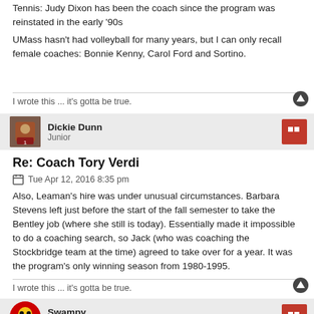Tennis: Judy Dixon has been the coach since the program was reinstated in the early '90s
UMass hasn't had volleyball for many years, but I can only recall female coaches: Bonnie Kenny, Carol Ford and Sortino.
I wrote this ... it's gotta be true.
Dickie Dunn
Junior
Re: Coach Tory Verdi
Tue Apr 12, 2016 8:35 pm
Also, Leaman's hire was under unusual circumstances. Barbara Stevens left just before the start of the fall semester to take the Bentley job (where she still is today). Essentially made it impossible to do a coaching search, so Jack (who was coaching the Stockbridge team at the time) agreed to take over for a year. It was the program's only winning season from 1980-1995.
I wrote this ... it's gotta be true.
Swampy
Hall of Fame